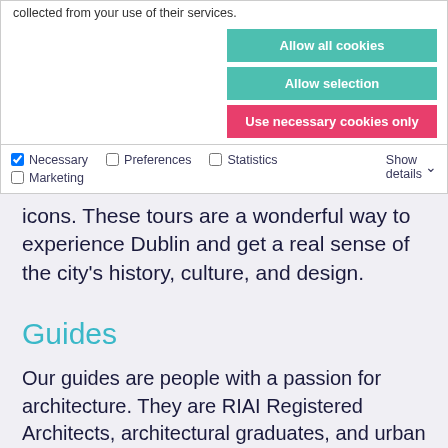collected from your use of their services.
Allow all cookies
Allow selection
Use necessary cookies only
Necessary   Preferences   Statistics   Show details   Marketing
icons. These tours are a wonderful way to experience Dublin and get a real sense of the city's history, culture, and design.
Guides
Our guides are people with a passion for architecture. They are RIAI Registered Architects, architectural graduates, and urban specialists. Each guide is specially trained to conduct these tours.